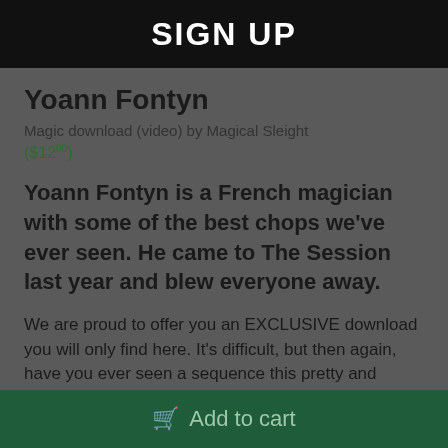SIGN UP
Yoann Fontyn
Magic download (video) by Magical Sleight ($12.00)
Yoann Fontyn is a French magician with some of the best chops we've ever seen. He came to The Session last year and blew everyone away.
We are proud to offer you an EXCLUSIVE download you will only find here. It's difficult, but then again, have you ever seen a sequence this pretty and magical looking? Four Aces appear and disappear
Add to cart